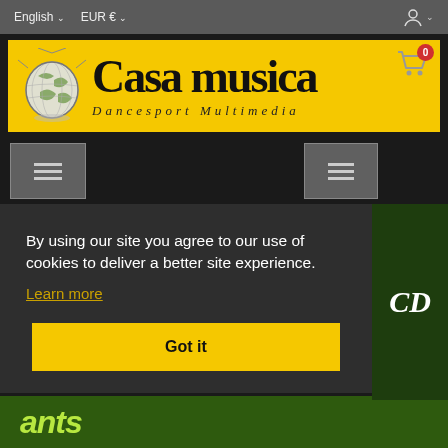English ∨  EUR € ∨
[Figure (logo): Casa musica Dancesport Multimedia logo on yellow background with globe graphic]
[Figure (screenshot): Two hamburger menu buttons on dark background]
By using our site you agree to our use of cookies to deliver a better site experience.
Learn more
Got it